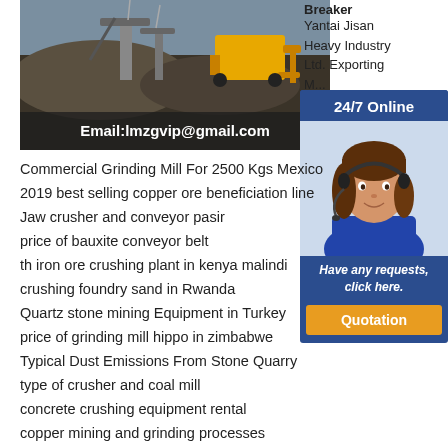[Figure (photo): Mining/quarry site with heavy machinery and yellow loader, email overlay at bottom: Email:lmzgvip@gmail.com]
Breaker
Yantai Jisan Heavy Industry Ltd. Exporting M... and...
[Figure (infographic): 24/7 Online chat widget with woman wearing headset, 'Have any requests, click here.' text and Quotation button]
Commercial Grinding Mill For 2500 Kgs Mexico
2019 best selling copper ore beneficiation line
Jaw crusher and conveyor pasir
price of bauxite conveyor belt
th iron ore crushing plant in kenya malindi
crushing foundry sand in Rwanda
Quartz stone mining Equipment in Turkey
price of grinding mill hippo in zimbabwe
Typical Dust Emissions From Stone Quarry
type of crusher and coal mill
concrete crushing equipment rental
copper mining and grinding processes
Shaft cone crusher Manufacturer
iron ore processing method ball mill for mining
kenya concrete crushing machines